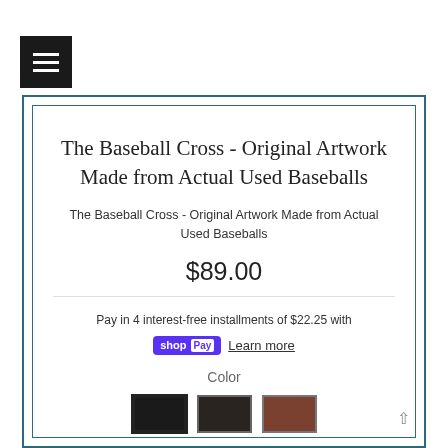[Figure (screenshot): Hamburger menu button, black square with three white horizontal lines]
The Baseball Cross - Original Artwork Made from Actual Used Baseballs
The Baseball Cross - Original Artwork Made from Actual Used Baseballs
$89.00
Pay in 4 interest-free installments of $22.25 with
shop Pay Learn more
Color